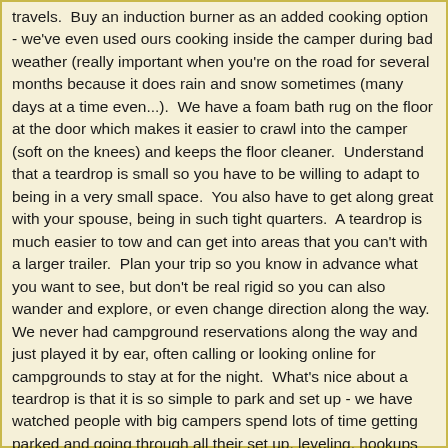travels.  Buy an induction burner as an added cooking option - we've even used ours cooking inside the camper during bad weather (really important when you're on the road for several months because it does rain and snow sometimes (many days at a time even...).  We have a foam bath rug on the floor at the door which makes it easier to crawl into the camper (soft on the knees) and keeps the floor cleaner.  Understand that a teardrop is small so you have to be willing to adapt to being in a very small space.  You also have to get along great with your spouse, being in such tight quarters.  A teardrop is much easier to tow and can get into areas that you can't with a larger trailer.  Plan your trip so you know in advance what you want to see, but don't be real rigid so you can also wander and explore, or even change direction along the way. We never had campground reservations along the way and just played it by ear, often calling or looking online for campgrounds to stay at for the night.  What's nice about a teardrop is that it is so simple to park and set up - we have watched people with big campers spend lots of time getting parked and going through all their set up, leveling, hookups etc.  We are usually parked and set up, hooked to electric, all in about 10 minutes."